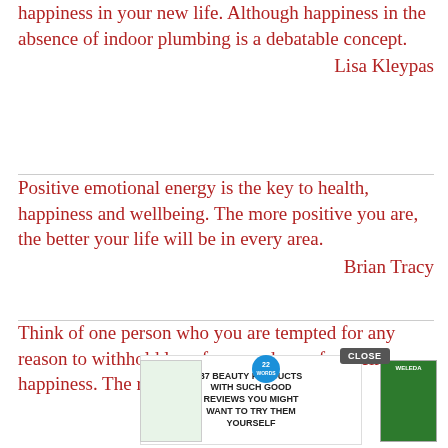I suppose now I'm obliged to wish you happiness in your new life. Although happiness in the absence of indoor plumbing is a debatable concept.
Lisa Kleypas
Positive emotional energy is the key to health, happiness and wellbeing. The more positive you are, the better your life will be in every area.
Brian Tracy
Think of one person who you are tempted for any reason to withhold love from, and pray for their happiness. The resentment will stop.